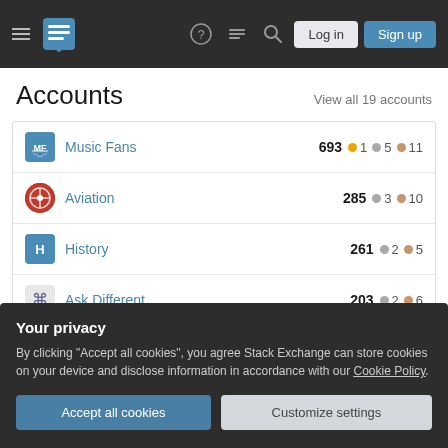Stack Exchange navigation header with hamburger menu, logo, help, chat, search icons, Log in and Sign up buttons
Accounts
View all 19 accounts
| Site | Score | Gold | Silver | Bronze |
| --- | --- | --- | --- | --- |
| Music Fans | 693 | 1 | 5 | 11 |
| Aviation | 285 | 3 | 10 |  |
| History | 261 | 2 | 5 |  |
| Ask Different | 203 | 2 | 6 |  |
| Blender | 201 | 1 | 2 | 3 |
Your privacy
By clicking "Accept all cookies", you agree Stack Exchange can store cookies on your device and disclose information in accordance with our Cookie Policy.
Accept all cookies
Customize settings